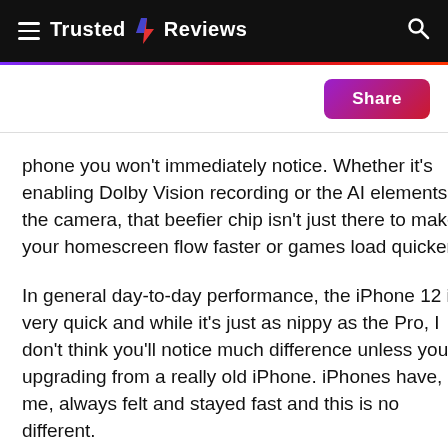Trusted Reviews
phone you won't immediately notice. Whether it's enabling Dolby Vision recording or the AI elements in the camera, that beefier chip isn't just there to make your homescreen flow faster or games load quicker.
In general day-to-day performance, the iPhone 12 is very quick and while it's just as nippy as the Pro, I don't think you'll notice much difference unless you're upgrading from a really old iPhone. iPhones have, to me, always felt and stayed fast and this is no different.
The only real difference in terms of specs between the iPhone 12 and iPhone 12 Pro is that the latter has a bit more RAM: 6GB, as opposed to 4GB. You likely won't notice this benefit yet though, and I certainly couldn't. You